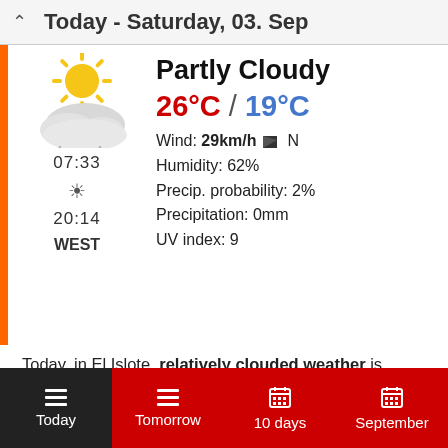Today - Saturday, 03. Sep
[Figure (illustration): Partly cloudy weather icon: sun with rays behind a white cloud]
Partly Cloudy
26°C / 19°C
Wind: 29km/h N
Humidity: 62%
Precip. probability: 2%
Precipitation: 0mm
UV index: 9
07:33
20:14
WEST
Today, in El Islote, relatively clouded weather is anticipated.
The temperature is forecasted to vary between a warm 26°C (78.8°F) and a comfortable 19°C.
Today | Tomorrow | 10 days | September